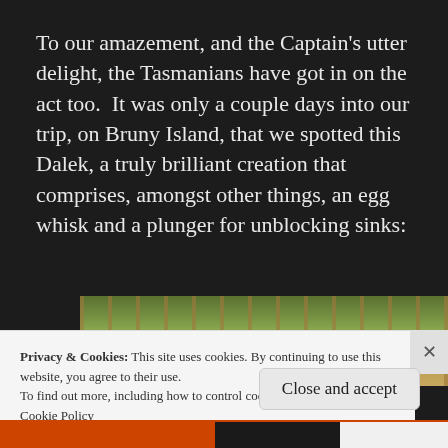To our amazement, and the Captain's utter delight, the Tasmanians have got in on the act too.  It was only a couple days into our trip, on Bruny Island, that we spotted this Dalek, a truly brilliant creation that comprises, amongst other things, an egg whisk and a plunger for unblocking sinks:
[Figure (photo): Partial view of trees with autumn foliage in forest, partially obscured by cookie consent banner]
Privacy & Cookies: This site uses cookies. By continuing to use this website, you agree to their use.
To find out more, including how to control cookies, see here:
Cookie Policy
Close and accept